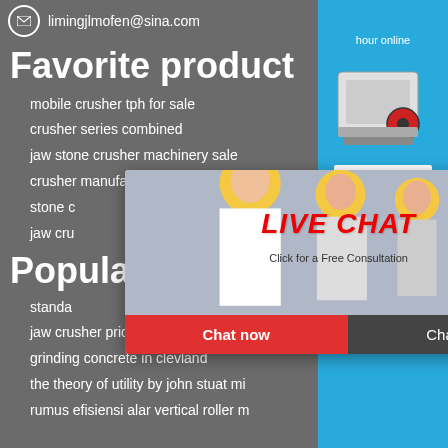limingjlmofen@sina.com
Favorite product
mobile crusher tph for sale
crusher series combined
jaw stone crusher machinery sale
crusher manufacturers in australia
stone c...
jaw cru...
Popular...
standa...
jaw crusher price europe
grinding concrete in clevland
the theory of utility by john stuat mi...
rumus efisiensi alar vertical roller m...
[Figure (screenshot): Live chat popup with workers in yellow hard hats, LIVE CHAT heading in red italic text, 'Click for a Free Consultation' subtext, Chat now (red) and Chat later (dark) buttons]
[Figure (infographic): Right side blue panel with 'hour online' text, crusher machine image, 'Click me to chat>>' button, Enquiry heading, limingjlmofen text]